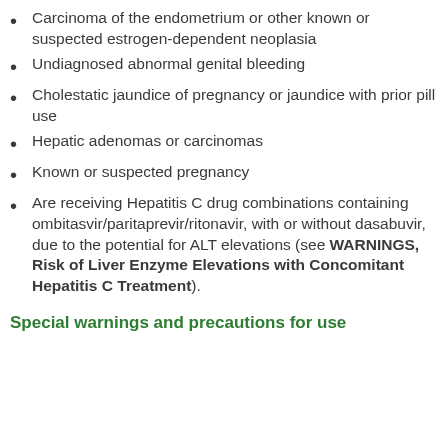Carcinoma of the endometrium or other known or suspected estrogen-dependent neoplasia
Undiagnosed abnormal genital bleeding
Cholestatic jaundice of pregnancy or jaundice with prior pill use
Hepatic adenomas or carcinomas
Known or suspected pregnancy
Are receiving Hepatitis C drug combinations containing ombitasvir/paritaprevir/ritonavir, with or without dasabuvir, due to the potential for ALT elevations (see WARNINGS, Risk of Liver Enzyme Elevations with Concomitant Hepatitis C Treatment).
Special warnings and precautions for use